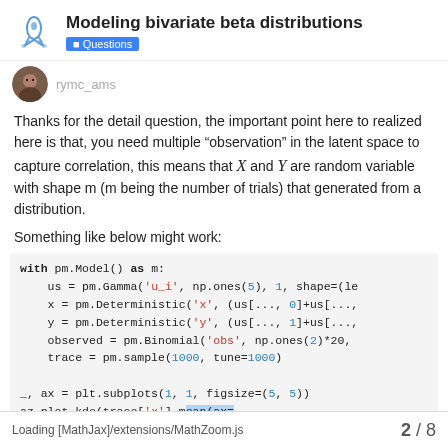Modeling bivariate beta distributions — Questions
[Figure (other): User avatar and username (partially visible)]
Thanks for the detail question, the important point here to realized here is that, you need multiple “observation” in the latent space to capture correlation, this means that X and Y are random variable with shape m (m being the number of trials) that generated from a distribution.
Something like below might work:
with pm.Model() as m:
    us = pm.Gamma('u_i', np.ones(5), 1, shape=(le
    x = pm.Deterministic('x', (us[..., 0]+us[...,
    y = pm.Deterministic('y', (us[..., 1]+us[...,
    observed = pm.Binomial('obs', np.ones(2)*20,
    trace = pm.sample(1000, tune=1000)

_, ax = plt.subplots(1, 1, figsize=(5, 5))
az.plot_kde(trace['x'].mean(ax=
Loading [MathJax]/extensions/MathZoom.js   2 / 8